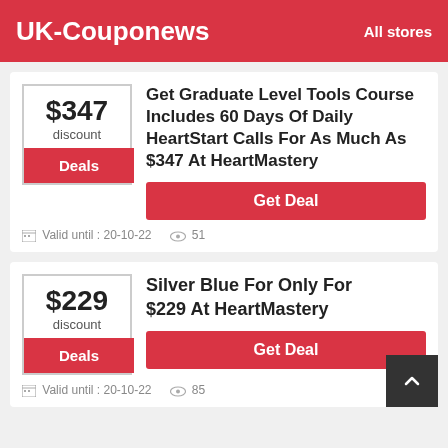UK-Couponews   All stores
$347 discount
Deals
Get Graduate Level Tools Course Includes 60 Days Of Daily HeartStart Calls For As Much As $347 At HeartMastery
Get Deal
Valid until : 20-10-22   51
$229 discount
Deals
Silver Blue For Only For $229 At HeartMastery
Get Deal
Valid until : 20-10-22   85